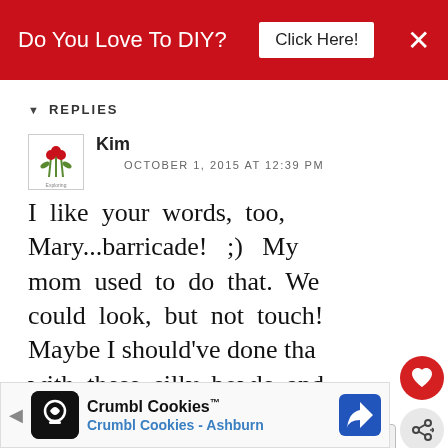[Figure (screenshot): Red banner advertisement: 'Do You Love To DIY?' with a white 'Click Here!' button and an X close button]
REPLIES
[Figure (logo): Small floral avatar/logo for commenter Kim]
Kim
OCTOBER 1, 2015 AT 12:39 PM
I like your words, too, Mary...barricade! ;) My mom used to do that. We could look, but not touch! Maybe I should've done tha with these silly bowls and made the kids eat fl from now on! Of course, I'm just kidding, but they are
[Figure (screenshot): Bottom advertisement for Crumbl Cookies - Crumbl Cookies Ashburn]
[Figure (infographic): What's Next overlay with Do You Dish? label and circular icon]